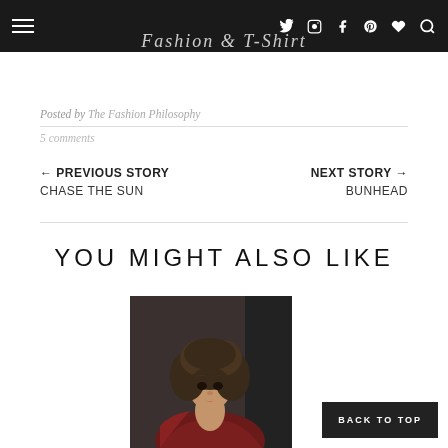Fashion blog header with navigation icons
Fashion & T-Shirt
Posted by The Fashion Philosophy
5 comments
← PREVIOUS STORY CHASE THE SUN
NEXT STORY → BUNHEAD
YOU MIGHT ALSO LIKE
[Figure (photo): Person with curly hair wearing a dark red/burgundy velvet off-shoulder top]
BACK TO TOP